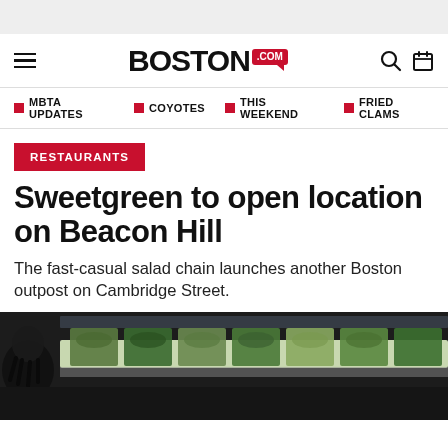Boston.com — navigation header with hamburger menu, BOSTON.COM logo, search and calendar icons
MBTA UPDATES
COYOTES
THIS WEEKEND
FRIED CLAMS
RESTAURANTS
Sweetgreen to open location on Beacon Hill
The fast-casual salad chain launches another Boston outpost on Cambridge Street.
[Figure (photo): Interior photo of a Sweetgreen restaurant showing a salad bar with trays of fresh green ingredients and a person visible in the foreground in silhouette]